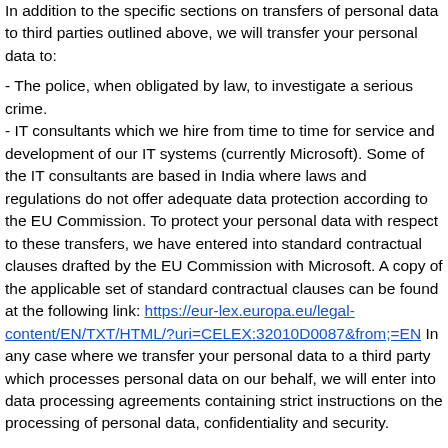In addition to the specific sections on transfers of personal data to third parties outlined above, we will transfer your personal data to:
- The police, when obligated by law, to investigate a serious crime. - IT consultants which we hire from time to time for service and development of our IT systems (currently Microsoft). Some of the IT consultants are based in India where laws and regulations do not offer adequate data protection according to the EU Commission. To protect your personal data with respect to these transfers, we have entered into standard contractual clauses drafted by the EU Commission with Microsoft. A copy of the applicable set of standard contractual clauses can be found at the following link: https://eur-lex.europa.eu/legal-content/EN/TXT/HTML/?uri=CELEX:32010D0087&from;=EN In any case where we transfer your personal data to a third party which processes personal data on our behalf, we will enter into data processing agreements containing strict instructions on the processing of personal data, confidentiality and security.
What are your rights as a data subject?
As a data subject you have the following rights with respect to our processing of your personal data.